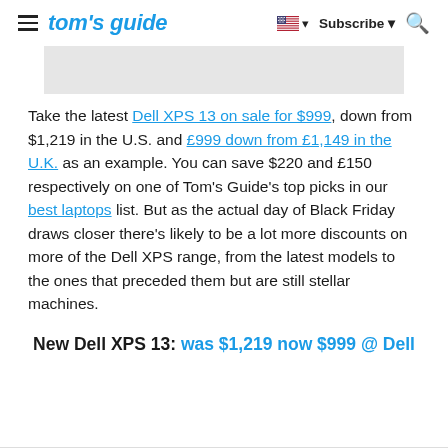tom's guide | Subscribe | Search
[Figure (other): Gray advertisement banner placeholder]
Take the latest Dell XPS 13 on sale for $999, down from $1,219 in the U.S. and £999 down from £1,149 in the U.K. as an example. You can save $220 and £150 respectively on one of Tom's Guide's top picks in our best laptops list. But as the actual day of Black Friday draws closer there's likely to be a lot more discounts on more of the Dell XPS range, from the latest models to the ones that preceded them but are still stellar machines.
New Dell XPS 13: was $1,219 now $999 @ Dell